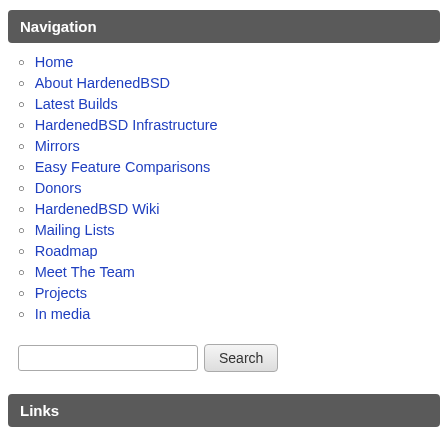Navigation
Home
About HardenedBSD
Latest Builds
HardenedBSD Infrastructure
Mirrors
Easy Feature Comparisons
Donors
HardenedBSD Wiki
Mailing Lists
Roadmap
Meet The Team
Projects
In media
Links